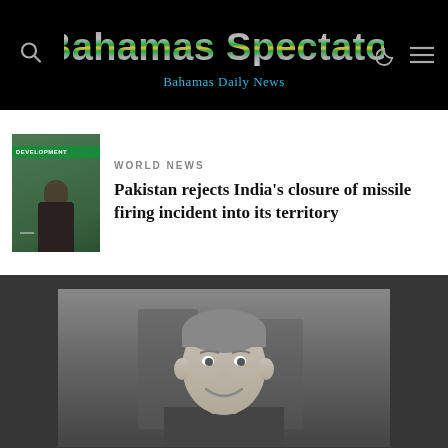Bahamas Spectator — Bahamas Daily News
[Figure (screenshot): Thumbnail image of a man at a press conference in front of a green banner that reads DEVELOPMENT]
WORLD NEWS
Pakistan rejects India's closure of missile firing incident into its territory
[Figure (photo): Grayscale photograph of a smiling man, shown from the shoulders up, appearing to be in a formal meeting or conference setting]